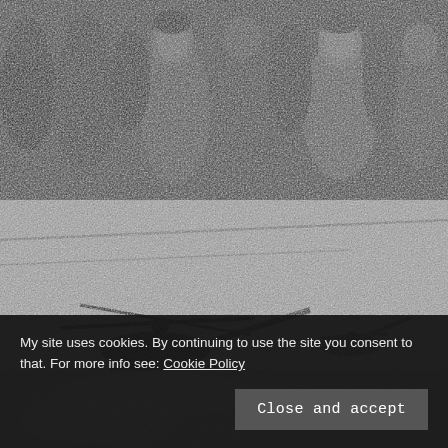[Figure (photo): Black and white photograph of a crowd of malnourished children standing together, appearing distressed]
[Figure (photo): Black and white photograph of military helicopters in flight, blurred and grainy]
My site uses cookies. By continuing to use the site you consent to that. For more info see: Cookie Policy